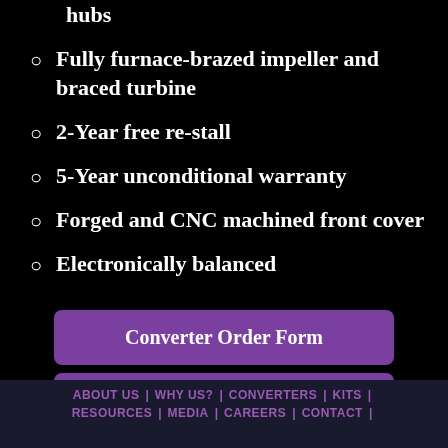hubs
Fully furnace-brazed impeller and braced turbine
2-Year free re-stall
5-Year unconditional warranty
Forged and CNC machined front cover
Electronically balanced
Converter Order Form
Call Now To Order
ABOUT US | WHY US? | CONVERTERS | KITS | RESOURCES | MEDIA | CAREERS | CONTACT |